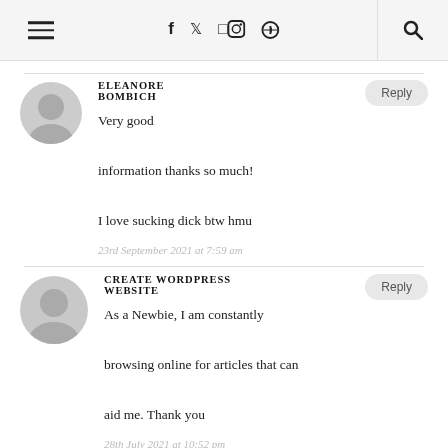Navigation bar with hamburger menu, social icons (f, twitter, instagram, pinterest), and search icon
ELEANORE BOMBICH
Very good information thanks so much! I love sucking dick btw hmu
23rd September 2021 at 7:59 am
CREATE WORDPRESS WEBSITE
As a Newbie, I am constantly browsing online for articles that can aid me. Thank you
28th July 2021 at 10:52 pm